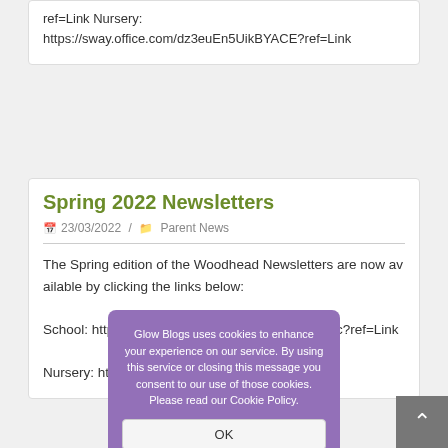ref=Link Nursery:
https://sway.office.com/dz3euEn5UikBYACE?ref=Link
Spring 2022 Newsletters
23/03/2022 / Parent News
The Spring edition of the Woodhead Newsletters are now available by clicking the links below:

School: https://sway.office.com/nsIlYuudEu2oepsc?ref=Link

Nursery: https://sway...FoM1cPE7ba
Glow Blogs uses cookies to enhance your experience on our service. By using this service or closing this message you consent to our use of those cookies. Please read our Cookie Policy.
OK